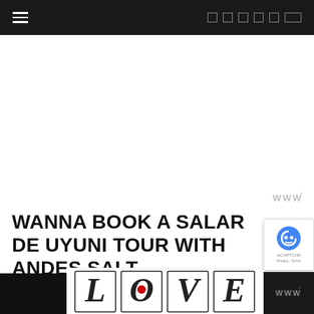Navigation bar with hamburger menu and social/search icons
[Figure (screenshot): White blank content area (advertisement placeholder)]
[Figure (other): Gray watermark triple-W with degree symbol]
WANNA BOOK A SALAR DE UYUNI TOUR WITH ANDES SALT
[Figure (illustration): LOVE decorative text art logo advertisement with intricate black and white doodle art inside each letter]
[Figure (other): reCAPTCHA badge with blue robot icon]